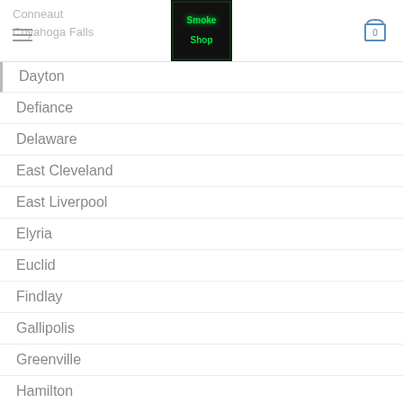Conneaut / Cuyahoga Falls — Smoke Shop navigation header with cart icon showing 0
Dayton
Defiance
Delaware
East Cleveland
East Liverpool
Elyria
Euclid
Findlay
Gallipolis
Greenville
Hamilton
Kent
Kettering
Lakewood
Lancaster